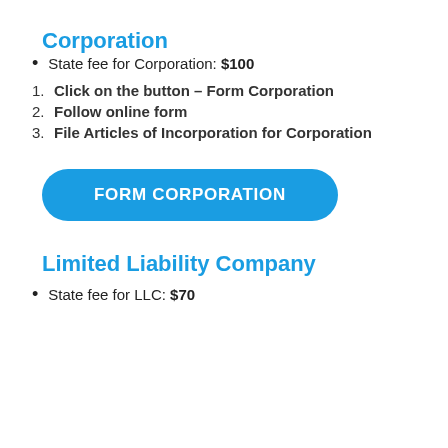Corporation
State fee for Corporation: $100
Click on the button – Form Corporation
Follow online form
File Articles of Incorporation for Corporation
[Figure (other): Blue rounded button labeled FORM CORPORATION]
Limited Liability Company
State fee for LLC: $70